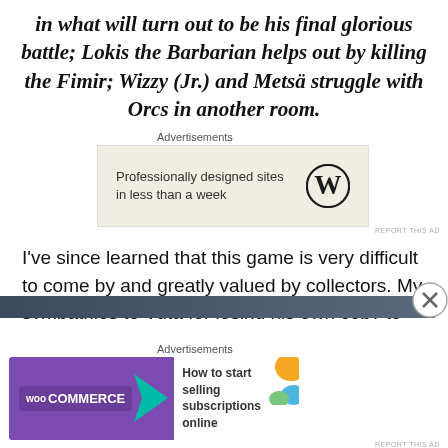in what will turn out to be his final glorious battle; Lokis the Barbarian helps out by killing the Fimir; Wizzy (Jr.) and Metsä struggle with Orcs in another room.
[Figure (screenshot): WordPress advertisement: 'Professionally designed sites in less than a week' with WordPress logo]
I've since learned that this game is very difficult to come by and greatly valued by collectors. My sympathies to Vuta for losing his own copy to reckless mum-flea-marketisation at some point in the past decade or so. But rest assured, I will be holding onto this one.
[Figure (screenshot): WooCommerce advertisement: 'How to start selling subscriptions online']